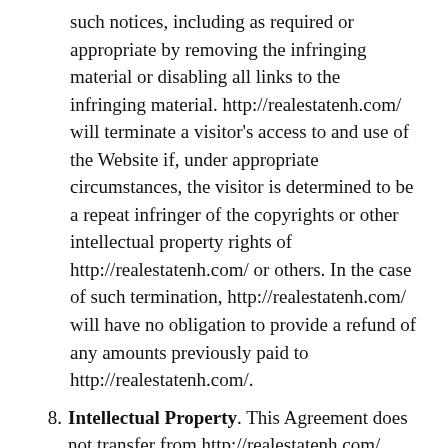such notices, including as required or appropriate by removing the infringing material or disabling all links to the infringing material. http://realestatenh.com/ will terminate a visitor's access to and use of the Website if, under appropriate circumstances, the visitor is determined to be a repeat infringer of the copyrights or other intellectual property rights of http://realestatenh.com/ or others. In the case of such termination, http://realestatenh.com/ will have no obligation to provide a refund of any amounts previously paid to http://realestatenh.com/.
8. Intellectual Property. This Agreement does not transfer from http://realestatenh.com/